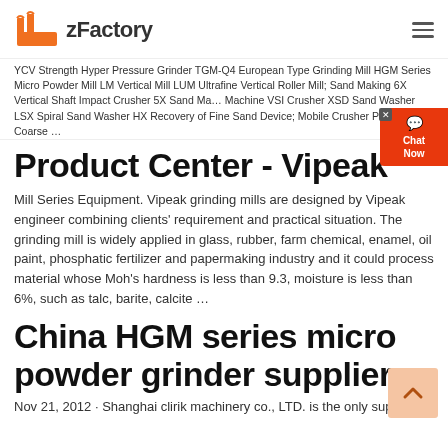zFactory
YCV Strength Hyper Pressure Grinder TGM-Q4 European Type Grinding Mill HGM Series Micro Powder Mill LM Vertical Mill LUM Ultrafine Vertical Roller Mill; Sand Making 6X Vertical Shaft Impact Crusher 5X Sand Making Machine VSI Crusher XSD Sand Washer LSX Spiral Sand Washer HX Recovery of Fine Sand Device; Mobile Crusher Plants VK-1 Coarse ...
Product Center - Vipeak
Mill Series Equipment. Vipeak grinding mills are designed by Vipeak engineer combining clients' requirement and practical situation. The grinding mill is widely applied in glass, rubber, farm chemical, enamel, oil paint, phosphatic fertilizer and papermaking industry and it could process material whose Moh's hardness is less than 9.3, moisture is less than 6%, such as talc, barite, calcite ...
China HGM series micro powder grinder supplier
Nov 21, 2012 · Shanghai clirik machinery co., LTD. is the only suppier of